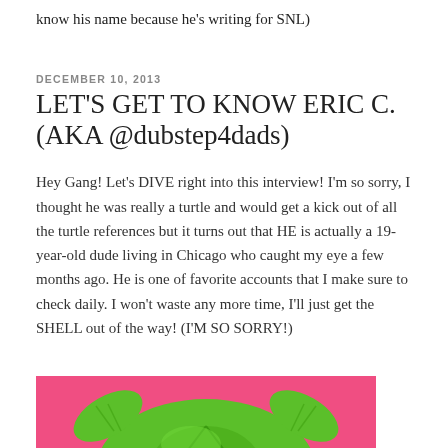know his name because he's writing for SNL)
DECEMBER 10, 2013
LET'S GET TO KNOW ERIC C. (AKA @dubstep4dads)
Hey Gang! Let's DIVE right into this interview! I'm so sorry, I thought he was really a turtle and would get a kick out of all the turtle references but it turns out that HE is actually a 19-year-old dude living in Chicago who caught my eye a few months ago. He is one of favorite accounts that I make sure to check daily. I won't waste any more time, I'll just get the SHELL out of the way! (I'M SO SORRY!)
[Figure (illustration): Cartoon illustration of a green turtle on a pink/hot pink background, cropped at the bottom of the page]